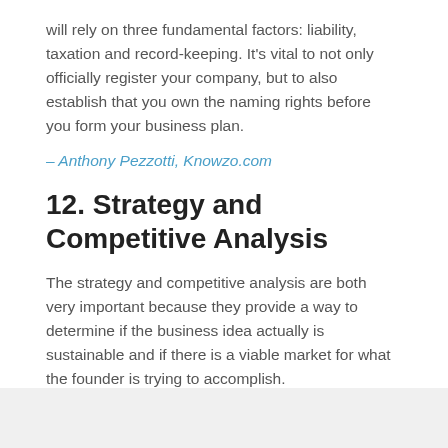will rely on three fundamental factors: liability, taxation and record-keeping. It's vital to not only officially register your company, but to also establish that you own the naming rights before you form your business plan.
– Anthony Pezzotti, Knowzo.com
12. Strategy and Competitive Analysis
The strategy and competitive analysis are both very important because they provide a way to determine if the business idea actually is sustainable and if there is a viable market for what the founder is trying to accomplish.
– Angela Ruth, Due